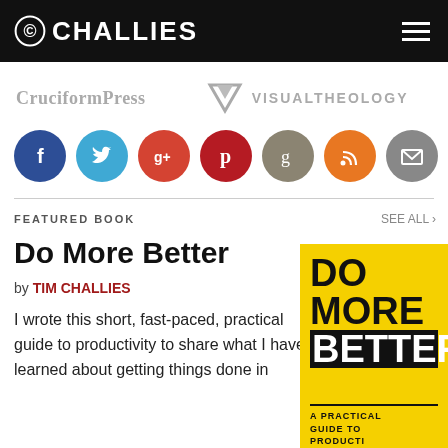CHALLIES
[Figure (logo): CruciformPress and Visual Theology sponsor logos]
[Figure (infographic): Social media icon circles: Facebook, Twitter, Google+, Pinterest, Goodreads, RSS, Email]
FEATURED BOOK
Do More Better
by TIM CHALLIES
I wrote this short, fast-paced, practical guide to productivity to share what I have learned about getting things done in
[Figure (photo): Book cover: Do More Better - A Practical Guide to Productivity, yellow cover with bold black and white text]